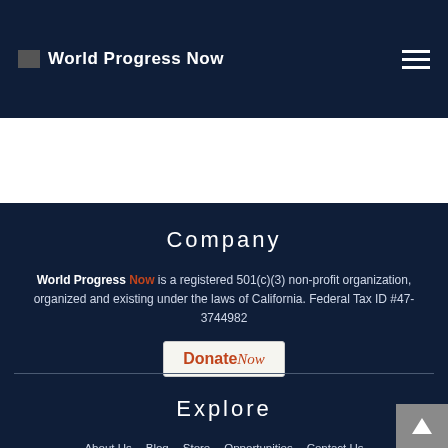World Progress Now
Company
World Progress Now is a registered 501(c)(3) non-profit organization, organized and existing under the laws of California. Federal Tax ID #47-3744982
[Figure (logo): Donate Now button/logo with red bold text 'Donate' and italic script 'Now' on a light background]
Explore
About Us
Blog
Store
Opportunities
Contact Us